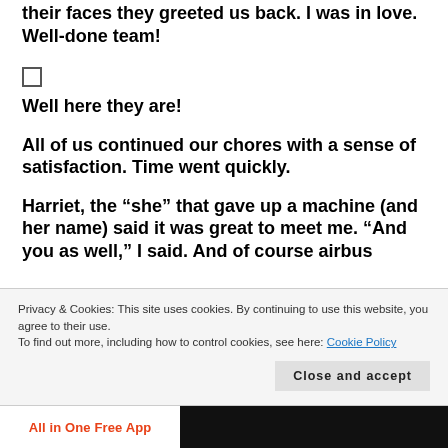their faces they greeted us back. I was in love. Well-done team!
Well here they are!
All of us continued our chores with a sense of satisfaction. Time went quickly.
Harriet, the “she” that gave up a machine (and her name) said it was great to meet me. “And you as well,” I said. And of course airbus
Privacy & Cookies: This site uses cookies. By continuing to use this website, you agree to their use.
To find out more, including how to control cookies, see here: Cookie Policy
Close and accept
All in One Free App